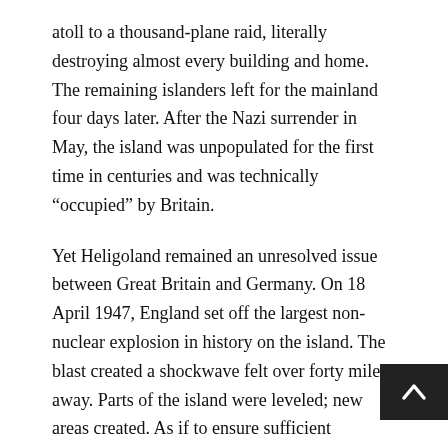atoll to a thousand-plane raid, literally destroying almost every building and home. The remaining islanders left for the mainland four days later. After the Nazi surrender in May, the island was unpopulated for the first time in centuries and was technically “occupied” by Britain.
Yet Heligoland remained an unresolved issue between Great Britain and Germany. On 18 April 1947, England set off the largest non-nuclear explosion in history on the island. The blast created a shockwave felt over forty miles away. Parts of the island were leveled; new areas created. As if to ensure sufficient punishment was imposed, the RAF used it as a bombing range.
But by October 1949, with the creation of West and East Germany, the island became a political focal point, this time regarding its future as part of West Germany or Great Britain. The new East Germany government used the island’s unresolved status to dis the West.